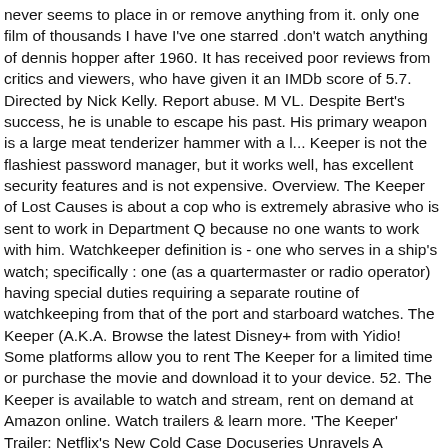never seems to place in or remove anything from it. only one film of thousands I have I've one starred .don't watch anything of dennis hopper after 1960. It has received poor reviews from critics and viewers, who have given it an IMDb score of 5.7. Directed by Nick Kelly. Report abuse. M VL. Despite Bert's success, he is unable to escape his past. His primary weapon is a large meat tenderizer hammer with a l... Keeper is not the flashiest password manager, but it works well, has excellent security features and is not expensive. Overview. The Keeper of Lost Causes is about a cop who is extremely abrasive who is sent to work in Department Q because no one wants to work with him. Watchkeeper definition is - one who serves in a ship's watch; specifically : one (as a quartermaster or radio operator) having special duties requiring a separate routine of watchkeeping from that of the port and starboard watches. The Keeper (A.K.A. Browse the latest Disney+ from with Yidio! Some platforms allow you to rent The Keeper for a limited time or purchase the movie and download it to your device. 52. The Keeper is available to watch and stream, rent on demand at Amazon online. Watch trailers & learn more. 'The Keeper' Trailer: Netflix's New Cold Case Docuseries Unravels A Decades-Long Conspiracy — Watch The seven-part documentary series premieres May 19. From. An unlikely friendship develops between the bipolar drummer of a rock band and an institutionalized teen suffering from Asperger's syndrome. 2008 Streamers Information Rated: 13, PG, 14, TVPG. I have watched this film 4 times and will watch it again at some